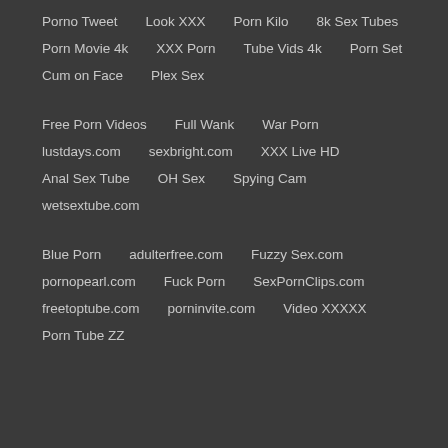Porno Tweet
Look XXX
Porn Kilo
8k Sex Tubes
Porn Movie 4k
XXX Porn
Tube Vids 4k
Porn Set
Cum on Face
Plex Sex
Free Porn Videos
Full Wank
War Porn
lustdays.com
sexbright.com
XXX Live HD
Anal Sex Tube
OH Sex
Spying Cam
wetsextube.com
Blue Porn
adulterfree.com
Fuzzy Sex.com
pornopearl.com
Fuck Porn
SexPornClips.com
freetoptube.com
porninvite.com
Video XXXXX
Porn Tube ZZ